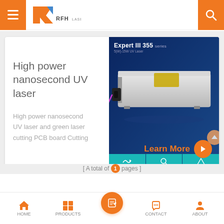RFH LASER
High power nanosecond UV laser
High power nanosecond UV laser and green laser cutting PCB board Cutting
[Figure (photo): RFH Laser Expert III 355 series UV laser product photo on dark blue background with three teal feature icons at bottom]
Learn More
[ A total of 1 pages ]
HOME  PRODUCTS  CONTACT  ABOUT